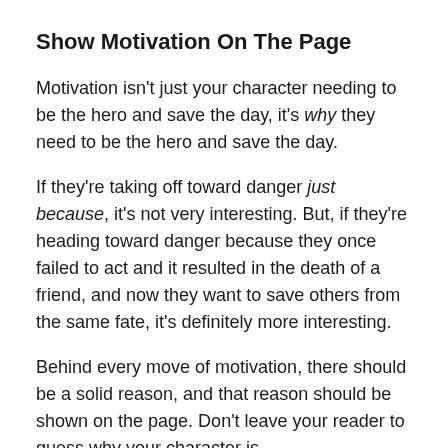Show Motivation On The Page
Motivation isn't just your character needing to be the hero and save the day, it's why they need to be the hero and save the day.
If they're taking off toward danger just because, it's not very interesting. But, if they're heading toward danger because they once failed to act and it resulted in the death of a friend, and now they want to save others from the same fate, it's definitely more interesting.
Behind every move of motivation, there should be a solid reason, and that reason should be shown on the page. Don't leave your reader to guess why your character is